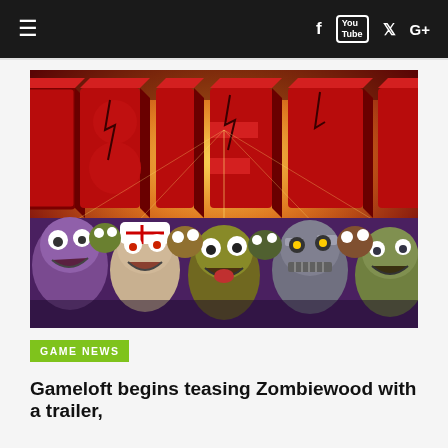≡   f  [YouTube]  ✦  G+
[Figure (illustration): Zombiewood game promotional art showing large red 3D letters spelling ZOMBIEWOOD with a crowd of cartoon zombies below, set against a glowing orange/yellow sky background.]
GAME NEWS
Gameloft begins teasing Zombiewood with a trailer,